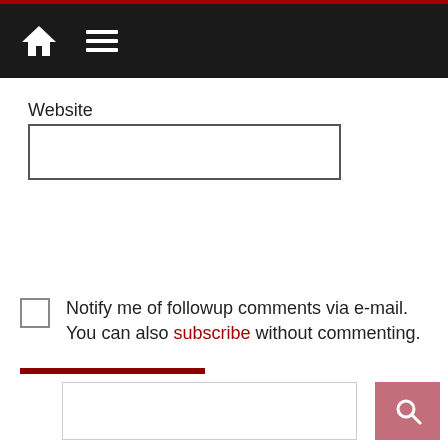Navigation bar with home and menu icons
Website
Notify me of followup comments via e-mail. You can also subscribe without commenting.
Post Comment
[Figure (screenshot): Search bar with search button at the bottom of the page]